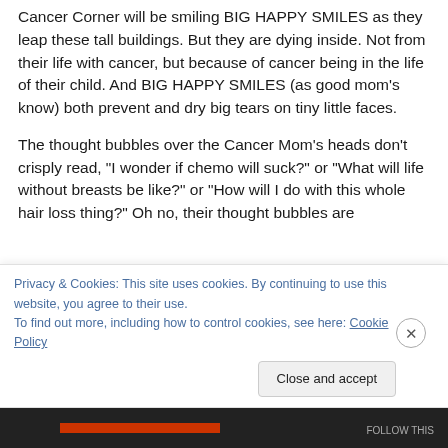Cancer Corner will be smiling BIG HAPPY SMILES as they leap these tall buildings. But they are dying inside. Not from their life with cancer, but because of cancer being in the life of their child. And BIG HAPPY SMILES (as good mom's know) both prevent and dry big tears on tiny little faces.
The thought bubbles over the Cancer Mom's heads don't crisply read, "I wonder if chemo will suck?" or "What will life without breasts be like?" or "How will I do with this whole hair loss thing?" Oh no, their thought bubbles are
Privacy & Cookies: This site uses cookies. By continuing to use this website, you agree to their use.
To find out more, including how to control cookies, see here: Cookie Policy
Close and accept